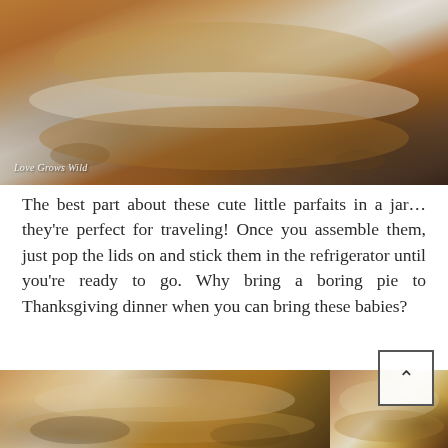[Figure (photo): Close-up photo of a layered pumpkin parfait in a jar, showing alternating layers of orange pumpkin filling and white cream, with caramel drizzle, watermarked 'Love Grows Wild']
The best part about these cute little parfaits in a jar… they're perfect for traveling! Once you assemble them, just pop the lids on and stick them in the refrigerator until you're ready to go. Why bring a boring pie to Thanksgiving dinner when you can bring these babies?
[Figure (photo): Two side-by-side photos of pumpkin parfaits in mason jars topped with caramel drizzle and chopped pecans]